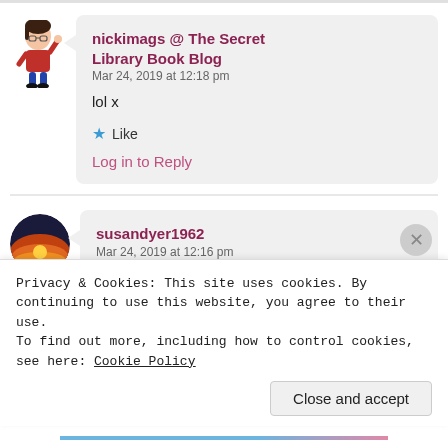[Figure (illustration): Avatar of nickimags — a cartoon bitmoji style figure wearing a red outfit, raising one hand]
nickimags @ The Secret Library Book Blog
Mar 24, 2019 at 12:18 pm

lol x

★ Like

Log in to Reply
[Figure (photo): Avatar of susandyer1962 — a circular photo showing a sunset with vivid orange and blue sky]
susandyer1962
Mar 24, 2019 at 12:16 pm
Privacy & Cookies: This site uses cookies. By continuing to use this website, you agree to their use.
To find out more, including how to control cookies, see here: Cookie Policy

Close and accept